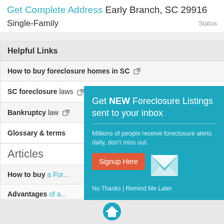Get Complete Address Early Branch, SC 29916
Single-Family   Status
Helpful Links
How to buy foreclosure homes in SC ↗
SC foreclosure laws ↗
Bankruptcy law ↗
Glossary & terms
Articles
How to buy a For...
Advantages of a...
What is a HUD ho...
[Figure (infographic): Popup overlay: Get NEW Foreclosure Listings sent to your inbox. Millions of people receive foreclosure alerts daily, don't miss out. Signup Here button. No Thanks | Remind Me Later. White envelope icon.]
Footer with home icon